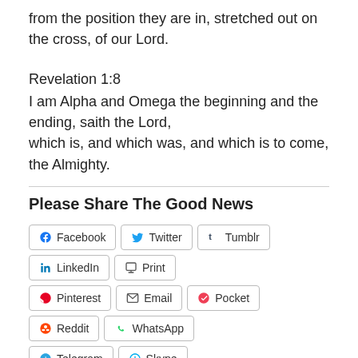from the position they are in, stretched out on the cross, of our Lord.
Revelation 1:8
I am Alpha and Omega the beginning and the ending, saith the Lord, which is, and which was, and which is to come, the Almighty.
Please Share The Good News
[Figure (other): Social share buttons: Facebook, Twitter, Tumblr, LinkedIn, Print, Pinterest, Email, Pocket, Reddit, WhatsApp, Telegram, Skype]
[Figure (other): Like button and thumbnail image]